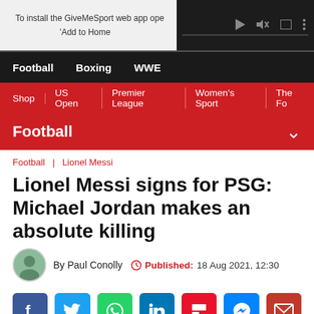To install the GiveMeSport web app open  'Add to Home
Football  Boxing  WWE
Shop | US Open | Premier League | Women's Sport | The Fo
Football
Football | Lionel Messi
Lionel Messi signs for PSG: Michael Jordan makes an absolute killing
By Paul Conolly  Published: 18 Aug 2021, 12:30
[Figure (infographic): Social sharing buttons: Facebook, Twitter, WhatsApp, LinkedIn, Flipboard, Messenger, Email]